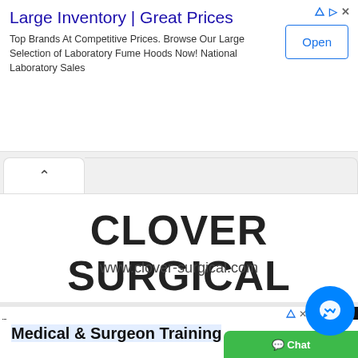[Figure (screenshot): Top advertisement banner: 'Large Inventory | Great Prices' with Open button and ad arrow icons]
[Figure (screenshot): Browser tab bar with chevron/up arrow tab indicator]
CLOVER SURGICAL
www.clover-surgical.com
[Figure (screenshot): Bottom advertisement: 'Medical & Surgeon Training' - Anatomy dissection training labs - MED ED LABS, with Messenger chat badge and green chat button, Open button at bottom]